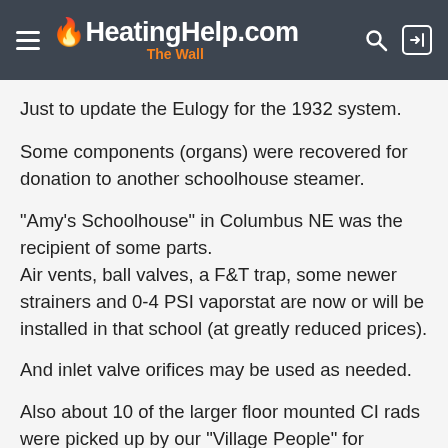HeatingHelp.com The Wall
Just to update the Eulogy for the 1932 system.
Some components (organs) were recovered for donation to another schoolhouse steamer.
"Amy's Schoolhouse" in Columbus NE was the recipient of some parts.
Air vents, ball valves, a F&T trap, some newer strainers and 0-4 PSI vaporstat are now or will be installed in that school (at greatly reduced prices).
And inlet valve orifices may be used as needed.
Also about 10 of the larger floor mounted CI rads were picked up by our "Village People" for heating in our village power plant. (priced at scrap value)